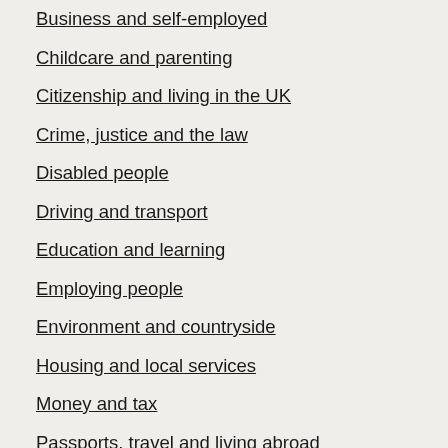Business and self-employed
Childcare and parenting
Citizenship and living in the UK
Crime, justice and the law
Disabled people
Driving and transport
Education and learning
Employing people
Environment and countryside
Housing and local services
Money and tax
Passports, travel and living abroad
Visas and immigration
Working, jobs and pensions